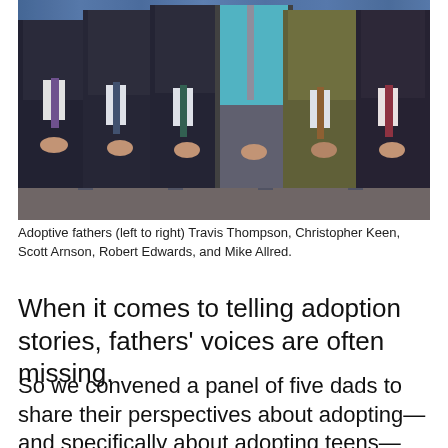[Figure (photo): Five men standing in a row dressed in suits and business attire, posing for a group photo in front of blue curtains. From left to right: a man in a dark suit with patterned tie, a man in a dark suit, a man in a dark suit with blue-green tie, a man in a cyan/turquoise shirt with grey tie, a man in an olive/brown suit, and a man in a dark suit with a patterned tie.]
Adoptive fathers (left to right) Travis Thompson, Christopher Keen, Scott Arnson, Robert Edwards, and Mike Allred.
When it comes to telling adoption stories, fathers' voices are often missing.
So we convened a panel of five dads to share their perspectives about adopting—and specifically about adopting teens—during a National Adoption